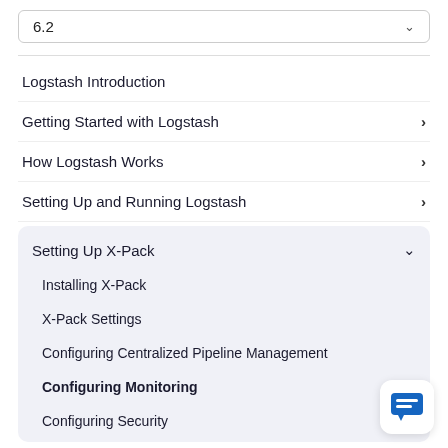6.2
Logstash Introduction
Getting Started with Logstash
How Logstash Works
Setting Up and Running Logstash
Setting Up X-Pack
Installing X-Pack
X-Pack Settings
Configuring Centralized Pipeline Management
Configuring Monitoring
Configuring Security